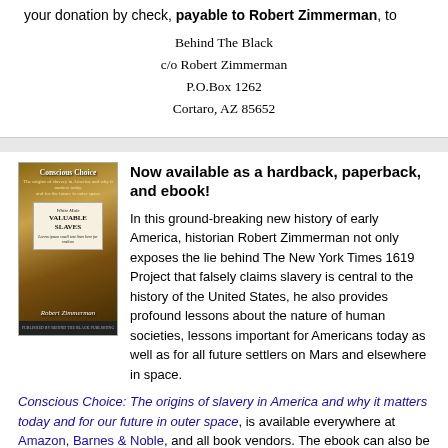your donation by check, payable to Robert Zimmerman, to
Behind The Black
c/o Robert Zimmerman
P.O.Box 1262
Cortaro, AZ 85652
[Figure (illustration): Book cover of 'Conscious Choice' by Robert Zimmerman]
Now available as a hardback, paperback, and ebook!
In this ground-breaking new history of early America, historian Robert Zimmerman not only exposes the lie behind The New York Times 1619 Project that falsely claims slavery is central to the history of the United States, he also provides profound lessons about the nature of human societies, lessons important for Americans today as well as for all future settlers on Mars and elsewhere in space.
Conscious Choice: The origins of slavery in America and why it matters today and for our future in outer space, is available everywhere at Amazon, Barnes & Noble, and all book vendors. The ebook can also be purchased directly from the ebook publisher ebookit, thus giving the author a bigger percentage much sooner.
“Zimmerman’s ground-breaking history provides every future generation the basic framework for establishing new societies on other worlds. We would be wise to heed what he says.”
—Robert Zubrin, founder of the Mars Society
Share